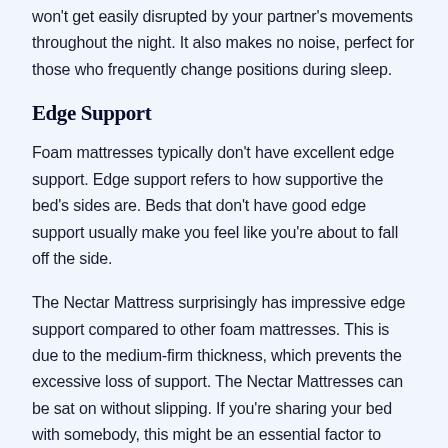won't get easily disrupted by your partner's movements throughout the night. It also makes no noise, perfect for those who frequently change positions during sleep.
Edge Support
Foam mattresses typically don't have excellent edge support. Edge support refers to how supportive the bed's sides are. Beds that don't have good edge support usually make you feel like you're about to fall off the side.
The Nectar Mattress surprisingly has impressive edge support compared to other foam mattresses. This is due to the medium-firm thickness, which prevents the excessive loss of support. The Nectar Mattresses can be sat on without slipping. If you're sharing your bed with somebody, this might be an essential factor to consider.
Pressure Relief